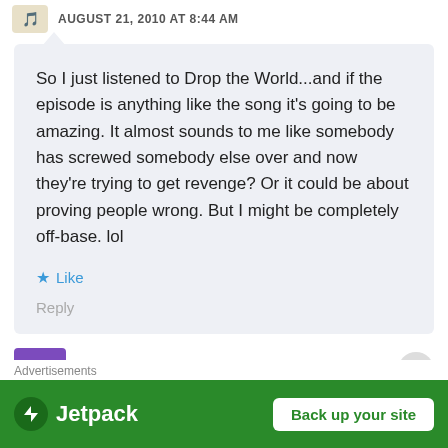AUGUST 21, 2010 AT 8:44 AM
So I just listened to Drop the World...and if the episode is anything like the song it's going to be amazing. It almost sounds to me like somebody has screwed somebody else over and now they're trying to get revenge? Or it could be about proving people wrong. But I might be completely off-base. lol
Like
Reply
spongebob
[Figure (screenshot): Jetpack advertisement banner with green background showing Jetpack logo and 'Back up your site' button]